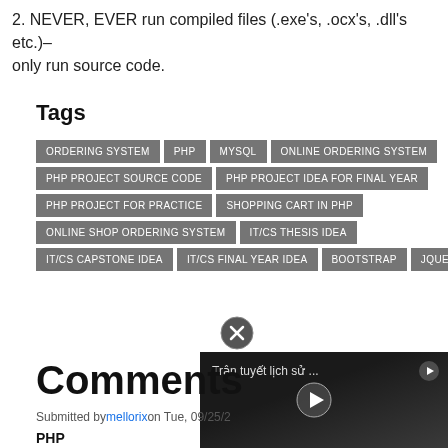2. NEVER, EVER run compiled files (.exe's, .ocx's, .dll's etc.)– only run source code.
Tags
ORDERING SYSTEM  PHP  MYSQL  ONLINE ORDERING SYSTEM  PHP PROJECT SOURCE CODE  PHP PROJECT IDEA FOR FINAL YEAR  PHP PROJECT FOR PRACTICE  SHOPPING CART IN PHP  ONLINE SHOP ORDERING SYSTEM  IT/CS THESIS IDEA  IT/CS CAPSTONE IDEA  IT/CS FINAL YEAR IDEA  BOOTSTRAP  JQUERY
[Figure (screenshot): Close button (X) and video overlay showing 'Trận tuyết lịch sử ...' with play button]
Comments
Submitted by mellorix on Tue, 09/25/2...
PHP
do i need to install virtual studio for it to work? or for me to